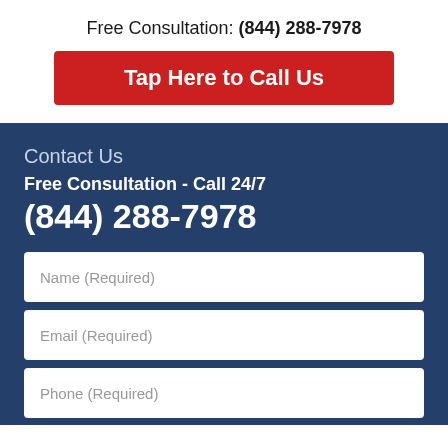Free Consultation: (844) 288-7978
Tap Here to Call Us
Contact Us
Free Consultation - Call 24/7
(844) 288-7978
Name (Required)
Email (Required)
Phone (Required)
My Case Falls Under: